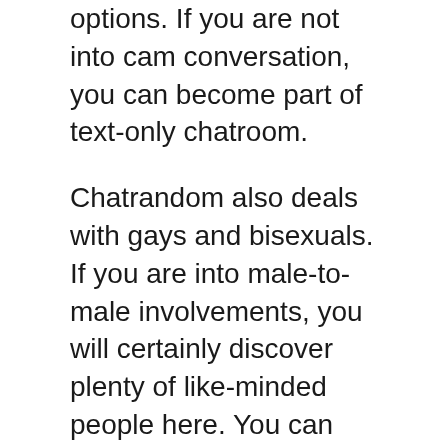options. If you are not into cam conversation, you can become part of text-only chatroom.
Chatrandom also deals with gays and bisexuals. If you are into male-to-male involvements, you will certainly discover plenty of like-minded people here. You can appreciate webcam to camera chats with potential chatmates.
Chatrandom offers a low-priced upgrade. With an updated account, you can make use of the sex filter, place filter, become part of an exclusive chat, and quit advertisements from popping.
You can link your Chatrandom account via a Facebook, Google, or Apple account.